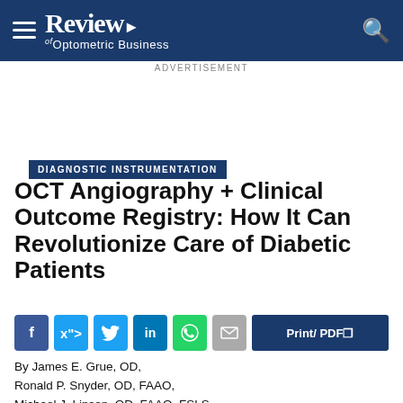Review of Optometric Business
ADVERTISEMENT
DIAGNOSTIC INSTRUMENTATION
OCT Angiography + Clinical Outcome Registry: How It Can Revolutionize Care of Diabetic Patients
By James E. Grue, OD, Ronald P. Snyder, OD, FAAO, Michael J. Lipson, OD, FAAO, FSLS,